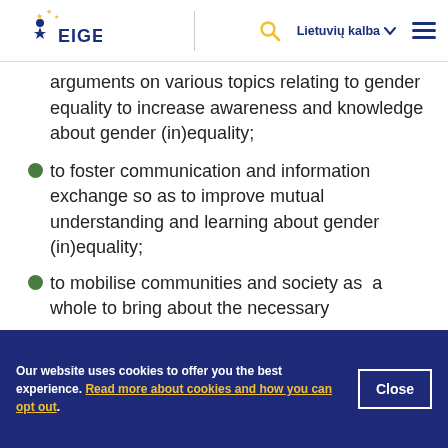EIGE — Lietuvių kalba
arguments on various topics relating to gender equality to increase awareness and knowledge about gender (in)equality;
to foster communication and information exchange so as to improve mutual understanding and learning about gender (in)equality;
to mobilise communities and society as a whole to bring about the necessary
Our website uses cookies to offer you the best experience. Read more about cookies and how you can opt out.